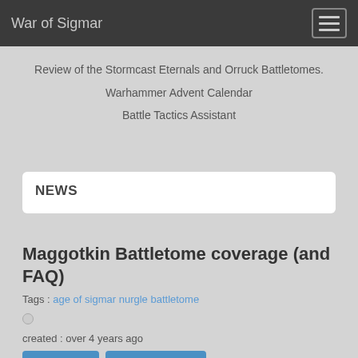War of Sigmar
Review of the Stormcast Eternals and Orruck Battletomes.
Warhammer Advent Calendar
Battle Tactics Assistant
NEWS
Maggotkin Battletome coverage (and FAQ)
Tags : age of sigmar nurgle battletome
created : over 4 years ago